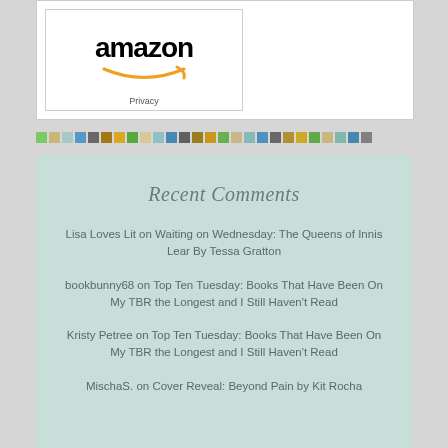[Figure (logo): Amazon logo with smile/arrow in a white bordered widget box]
Privacy
[Figure (infographic): Row of small colored square dots in green, tan, light blue, blue, gray, dark yellow, yellow, green, light tan, light blue, blue, gray, dark yellow, yellow, green, tan, light blue, blue, gray, dark yellow, yellow, green, tan, light blue, blue]
Recent Comments
Lisa Loves Lit on Waiting on Wednesday: The Queens of Innis Lear By Tessa Gratton
bookbunny68 on Top Ten Tuesday: Books That Have Been On My TBR the Longest and I Still Haven't Read
Kristy Petree on Top Ten Tuesday: Books That Have Been On My TBR the Longest and I Still Haven't Read
MischaS. on Cover Reveal: Beyond Pain by Kit Rocha